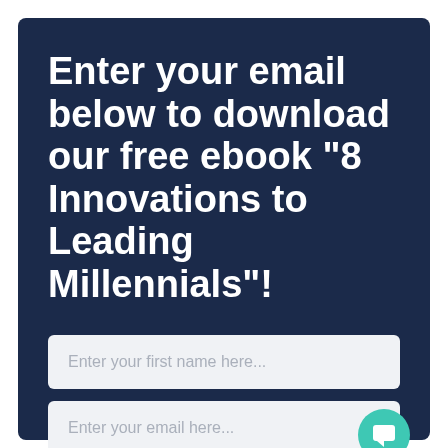Enter your email below to download our free ebook "8 Innovations to Leading Millennials"!
Enter your first name here...
Enter your email here...